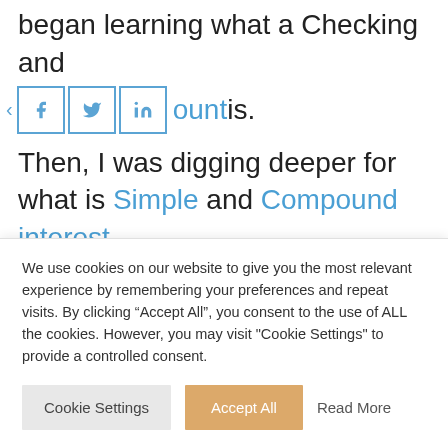began learning what a Checking and account is.
[Figure (other): Social share bar with Facebook, Twitter, and LinkedIn icon buttons]
Then, I was digging deeper for what is Simple and Compound interest.
And when I hit the term PYF or pay yourself first, it was for me a huge Aha moment.
In fact, I wrote the article 11 Basic Personal Finance Terms To Understand Financial
We use cookies on our website to give you the most relevant experience by remembering your preferences and repeat visits. By clicking “Accept All”, you consent to the use of ALL the cookies. However, you may visit "Cookie Settings" to provide a controlled consent.